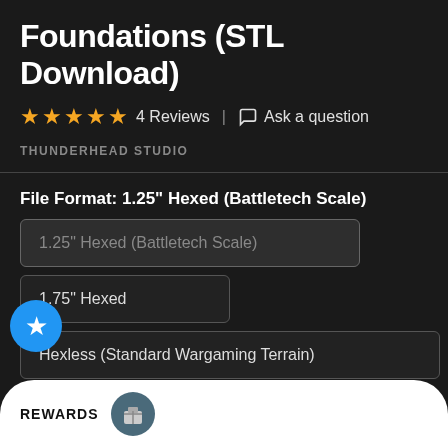Foundations (STL Download)
★★★★★ 4 Reviews | Ask a question
THUNDERHEAD STUDIO
File Format: 1.25" Hexed (Battletech Scale)
1.25" Hexed (Battletech Scale)
1.75" Hexed
Hexless (Standard Wargaming Terrain)
.25" Hexed
REWARDS